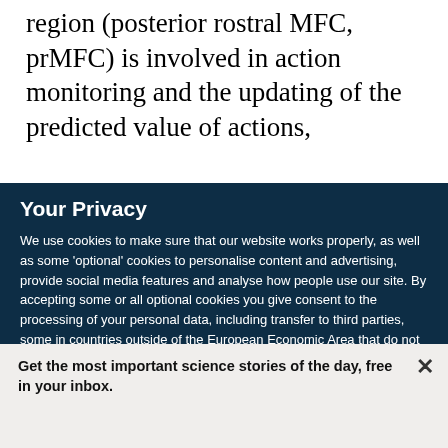region (posterior rostral MFC, prMFC) is involved in action monitoring and the updating of the predicted value of actions,
Your Privacy
We use cookies to make sure that our website works properly, as well as some 'optional' cookies to personalise content and advertising, provide social media features and analyse how people use our site. By accepting some or all optional cookies you give consent to the processing of your personal data, including transfer to third parties, some in countries outside of the European Economic Area that do not offer the same data protection standards as the country where you live. You can decide which optional cookies to accept by clicking on 'Manage Settings', where you can
Get the most important science stories of the day, free in your inbox.
Sign up for Nature Briefing